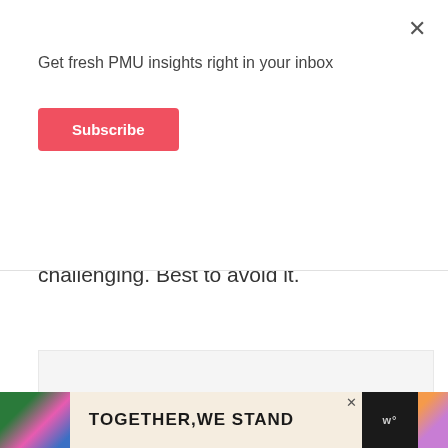Get fresh PMU insights right in your inbox
Subscribe
so sitting still for 2 hours may be challenging. Best to avoid it.
[Figure (other): Advertisement placeholder box with three dots]
[Figure (other): Bottom banner advertisement reading TOGETHER WE STAND with colorful design elements and a close button]